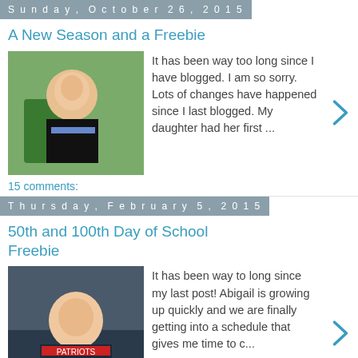Sunday, October 26, 2015
A New Season and a Freebie
It has been way too long since I have blogged. I am so sorry. Lots of changes have happened since I last blogged. My daughter had her first ...
15 comments:
Thursday, February 5, 2015
50th and 100th Day of School Freebie
It has been way to long since my last post! Abigail is growing up quickly and we are finally getting into a schedule that gives me time to c...
3 comments:
Thursday, October 30, 2014
Student Self Evaluations- Getting Ready for Conferences